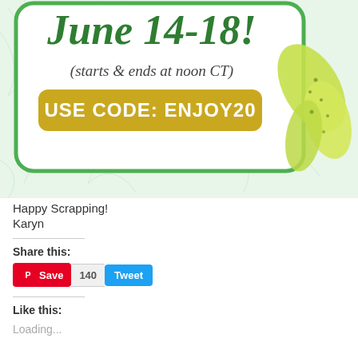[Figure (illustration): Promotional banner with green tropical leaf background and rounded white box. Large green cursive text reads 'June 14-18!' with italic text below '(starts & ends at noon CT)'. Yellow-green rounded rectangle button with white text 'USE CODE: ENJOY20'. Decorative tropical leaves on the right side.]
Happy Scrapping!
Karyn
Share this:
Save 140 Tweet
Like this:
Loading...